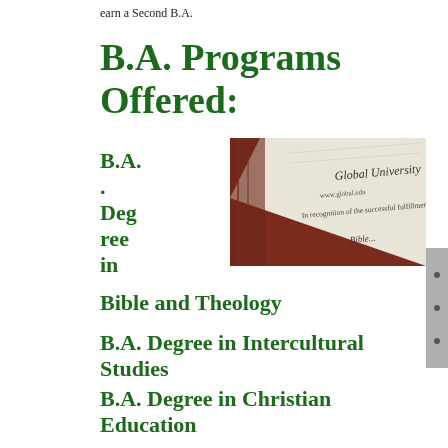earn a Second B.A.
B.A. Programs Offered:
[Figure (photo): Close-up photograph of a diploma or certificate from Global University, showing text 'In recognition of the successful fulfillment of' on white paper resting on a dark wood surface.]
B.A. Degree in Bible and Theology
B.A. Degree in Intercultural Studies
B.A. Degree in Christian Education